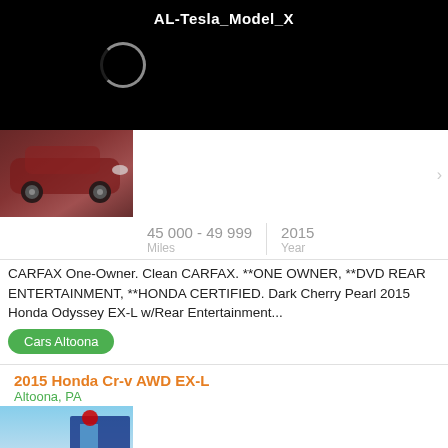AL-Tesla_Model_X
[Figure (screenshot): Loading spinner circle on black background]
[Figure (photo): Dark cherry red Honda Odyssey minivan photo]
45 000 - 49 999 Miles | 2015 Year
CARFAX One-Owner. Clean CARFAX. **ONE OWNER, **DVD REAR ENTERTAINMENT, **HONDA CERTIFIED. Dark Cherry Pearl 2015 Honda Odyssey EX-L w/Rear Entertainment...
Cars Altoona
2015 Honda Cr-v AWD EX-L
Altoona, PA
[Figure (photo): White Honda CR-V SUV in front of Honda dealership]
20 000 - 24 999 Miles | 2015 Year
CARFAX One-Owner. Clean CARFAX. **ONE OWNER, **HONDA...